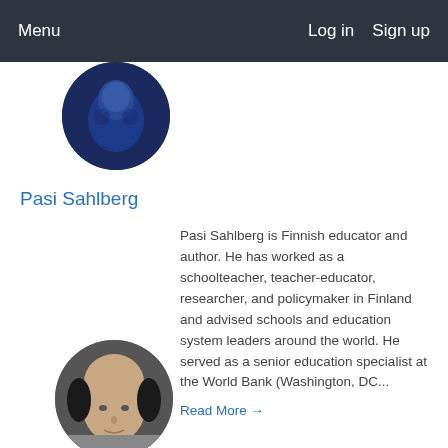Menu   Log in   Sign up
[Figure (photo): Circular profile photo of Pasi Sahlberg, partially cropped at top, showing person in blue outfit]
Pasi Sahlberg
Pasi Sahlberg is Finnish educator and author. He has worked as a schoolteacher, teacher-educator, researcher, and policymaker in Finland and advised schools and education system leaders around the world. He served as a senior education specialist at the World Bank (Washington, DC...
Read More →
[Figure (photo): Circular profile photo of a bald man with dark hair on sides, partially cropped at bottom of page]